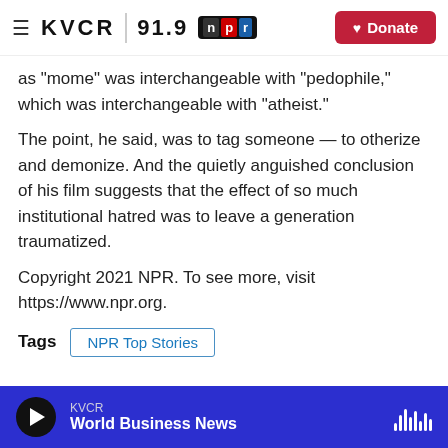KVCR 91.9 | npr | Donate
as “mome” was interchangeable with “pedophile,” which was interchangeable with “atheist.”
The point, he said, was to tag someone — to otherize and demonize. And the quietly anguished conclusion of his film suggests that the effect of so much institutional hatred was to leave a generation traumatized.
Copyright 2021 NPR. To see more, visit https://www.npr.org.
Tags  NPR Top Stories
KVCR  World Business News